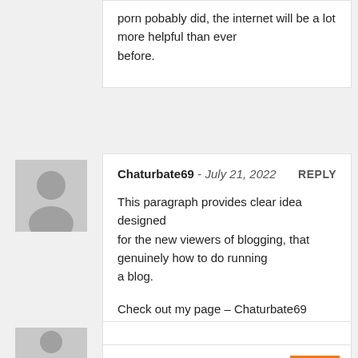porn pobably did, the internet will be a lot more helpful than ever before.
Chaturbate69 - July 21, 2022 REPLY
This paragraph provides clear idea designed for the new viewers of blogging, that genuinely how to do running a blog.

Check out my page – Chaturbate69